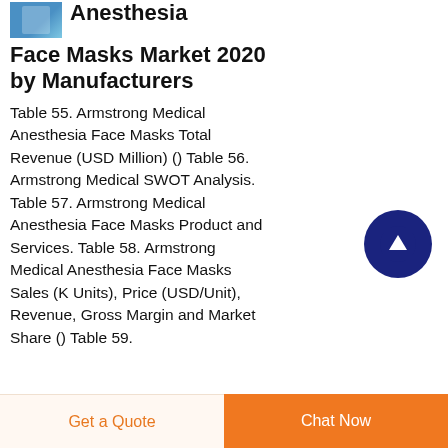Anesthesia Face Masks Market 2020 by Manufacturers
Table 55. Armstrong Medical Anesthesia Face Masks Total Revenue (USD Million) () Table 56. Armstrong Medical SWOT Analysis. Table 57. Armstrong Medical Anesthesia Face Masks Product and Services. Table 58. Armstrong Medical Anesthesia Face Masks Sales (K Units), Price (USD/Unit), Revenue, Gross Margin and Market Share () Table 59.
[Figure (other): Scroll to top button — dark navy circle with white upward arrow]
Get a Quote  Chat Now